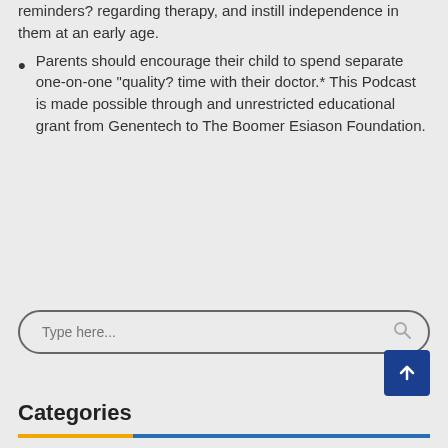reminders? regarding therapy, and instill independence in them at an early age.
Parents should encourage their child to spend separate one-on-one “quality? time with their doctor.* This Podcast is made possible through and unrestricted educational grant from Genentech to The Boomer Esiason Foundation.
[Figure (other): Search input box with placeholder text 'Type here...' and a search icon, on a light grey background with rounded border.]
[Figure (other): Dark blue square button with a white upward arrow icon.]
Categories
[Figure (other): Two-tone horizontal divider line: yellow on left portion, blue on right portion.]